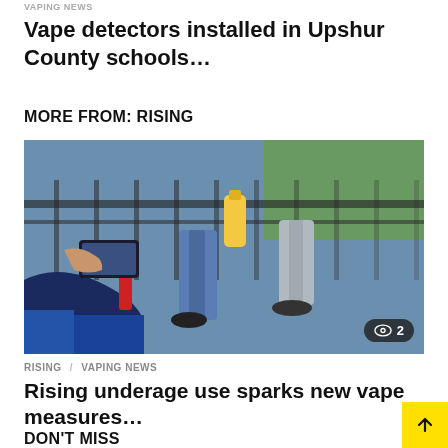VAPING NEWS
Vape detectors installed in Upshur County schools…
MORE FROM: RISING
[Figure (photo): Person holding a vape device and phone, other people sitting on a fence in background, outdoor scene]
RISING  VAPING NEWS
Rising underage use sparks new vape measures…
DON'T MISS